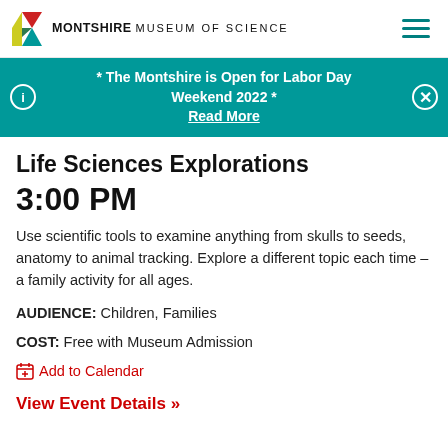MONTSHIRE MUSEUM OF SCIENCE
* The Montshire is Open for Labor Day Weekend 2022 * Read More
Life Sciences Explorations
3:00 PM
Use scientific tools to examine anything from skulls to seeds, anatomy to animal tracking. Explore a different topic each time – a family activity for all ages.
AUDIENCE: Children, Families
COST: Free with Museum Admission
Add to Calendar
View Event Details »